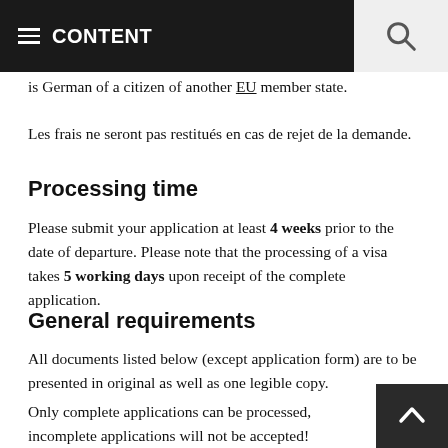CONTENT
free of charge if the spouse, parent or citizen is German of a citizen of another EU member state.
Les frais ne seront pas restitués en cas de rejet de la demande.
Processing time
Please submit your application at least 4 weeks prior to the date of departure. Please note that the processing of a visa takes 5 working days upon receipt of the complete application.
General requirements
All documents listed below (except application form) are to be presented in original as well as one legible copy.
Only complete applications can be processed, incomplete applications will not be accepted! Additional documents may be required!